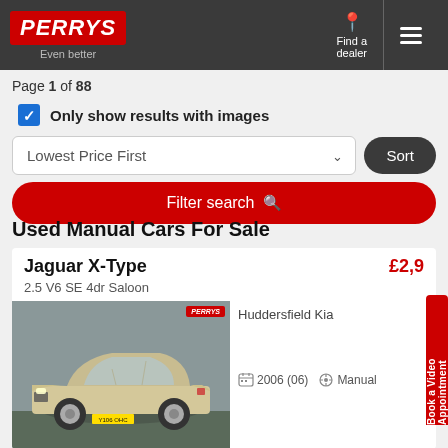[Figure (screenshot): Perrys car dealership website header with red Perrys logo, tagline 'Even better', Find a dealer button, and hamburger menu on dark background]
Page 1 of 88
Only show results with images
Lowest Price First
Sort
Filter search
Used Manual Cars For Sale
Jaguar X-Type
£2,9
2.5 V6 SE 4dr Saloon
[Figure (photo): Gold/champagne Jaguar X-Type saloon car parked in a car lot, photographed from front-side angle. Perrys logo watermark in top right.]
Huddersfield Kia
2006 (06)
Manual
Book a Video Appointment